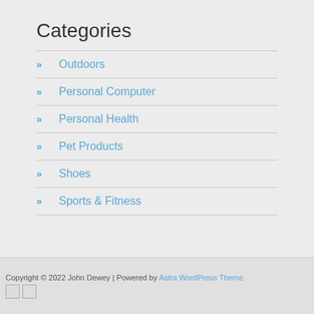Categories
Outdoors
Personal Computer
Personal Health
Pet Products
Shoes
Sports & Fitness
Copyright © 2022 John Dewey | Powered by Astra WordPress Theme